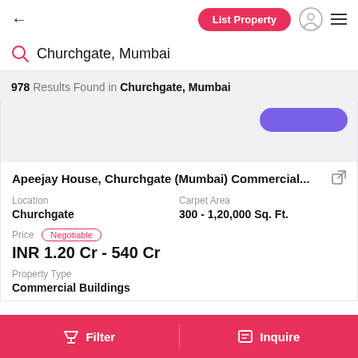← List Property [user icon] ≡
Churchgate, Mumbai
978 Results Found in Churchgate, Mumbai
Apeejay House, Churchgate (Mumbai) Commercial...
Location
Churchgate
Carpet Area
300 - 1,20,000 Sq. Ft.
Price  Negotiable
INR 1.20 Cr - 540 Cr
Property Type
Commercial Buildings
Filter    Inquire